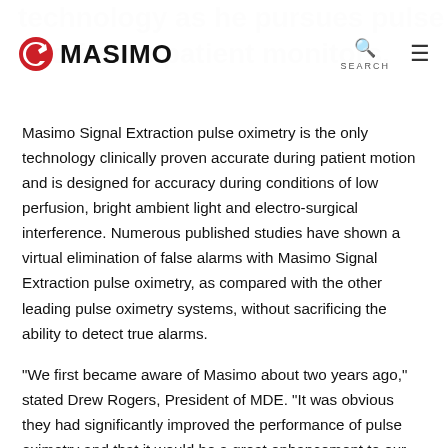Masimo | technology as he pursues pulse oximetry standard as ... and future patient monitors.
Masimo Signal Extraction pulse oximetry is the only technology clinically proven accurate during patient motion and is designed for accuracy during conditions of low perfusion, bright ambient light and electro-surgical interference. Numerous published studies have shown a virtual elimination of false alarms with Masimo Signal Extraction pulse oximetry, as compared with the other leading pulse oximetry systems, without sacrificing the ability to detect true alarms.
"We first became aware of Masimo about two years ago," stated Drew Rogers, President of MDE. "It was obvious they had significantly improved the performance of pulse oximetry and that it would be a great enhancement to our monitors. After extensive due diligence and testing of the Masimo technology and after receiving numerous requests from our customers, we decided to commit to making it our standard